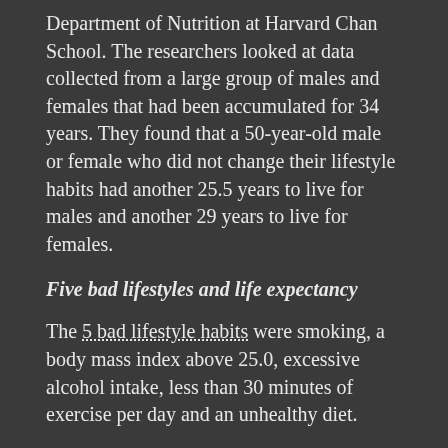Department of Nutrition at Harvard Chan School. The researchers looked at data collected from a large group of males and females that had been accumulated for 34 years. They found that a 50-year-old male or female who did not change their lifestyle habits had another 25.5 years to live for males and another 29 years to live for females.
Five bad lifestyles and life expectancy
The 5 bad lifestyle habits were smoking, a body mass index above 25.0, excessive alcohol intake, less than 30 minutes of exercise per day and an unhealthy diet.
When people cut out all of those risky lifestyles, 50-year-old men and women had a life expectancy of 37.6 years for men and 43.1 years for women. This was an addition of 12 years of healthy life for men compared to controls who did not change their lifestyles. With